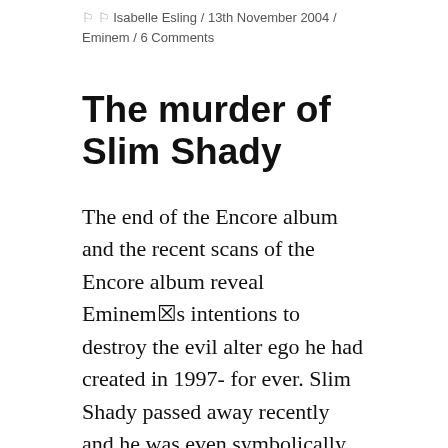Isabelle Esling / 13th November 2004 / Eminem / 6 Comments
The murder of Slim Shady
The end of the Encore album and the recent scans of the Encore album reveal Eminem's intentions to destroy the evil alter ego he had created in 1997- for ever. Slim Shady passed away recently and he was even symbolically put into a coffin.
Listening to The Eminem Show and to Encore is like going to the theater or to the mall. Eminem always made his intentions crystal clear